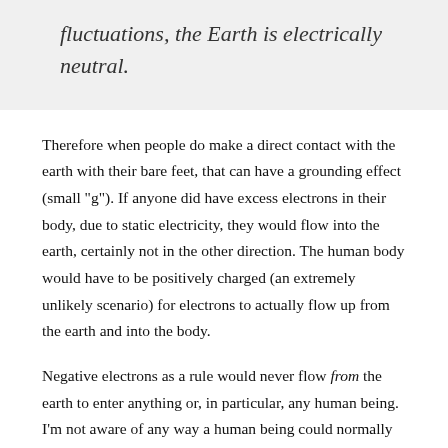fluctuations, the Earth is electrically neutral.
Therefore when people do make a direct contact with the earth with their bare feet, that can have a grounding effect (small "g"). If anyone did have excess electrons in their body, due to static electricity, they would flow into the earth, certainly not in the other direction. The human body would have to be positively charged (an extremely unlikely scenario) for electrons to actually flow up from the earth and into the body.
Negative electrons as a rule would never flow from the earth to enter anything or, in particular, any human being. I'm not aware of any way a human being could normally ever be positively charged, a condition